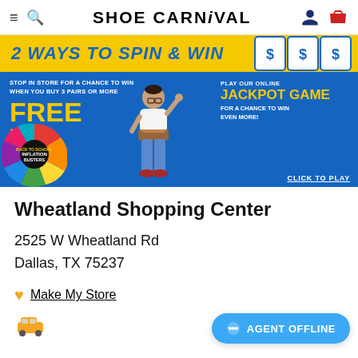SHOE CARNIVAL
[Figure (screenshot): Shoe Carnival promotional banner: '2 WAYS TO SPIN & WIN' with blue background, FREE GAS! GROCERIES! CASH CARDS! offer when buying 3 pairs or more, an animated mascot character, spinning prize wheel with Inflation Busters label, dollar sign tickets, and PLAY OUR ONLINE JACKPOT GAME FOR A CHANCE TO WIN EVEN MORE! with CLICK TO PLAY link]
Wheatland Shopping Center
2525 W Wheatland Rd
Dallas, TX 75237
Make My Store
[Figure (illustration): Orange car icon]
AGENT OFFLINE